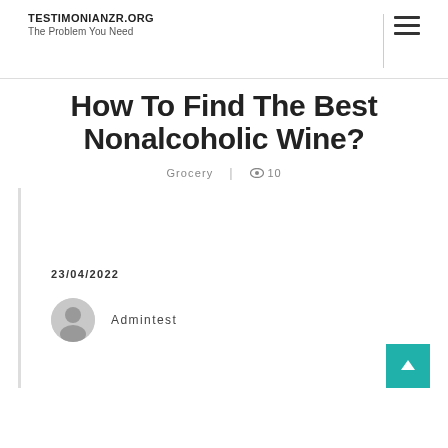TESTIMONIANZR.ORG
The Problem You Need
How To Find The Best Nonalcoholic Wine?
Grocery | 👁 10
23/04/2022
Admintest